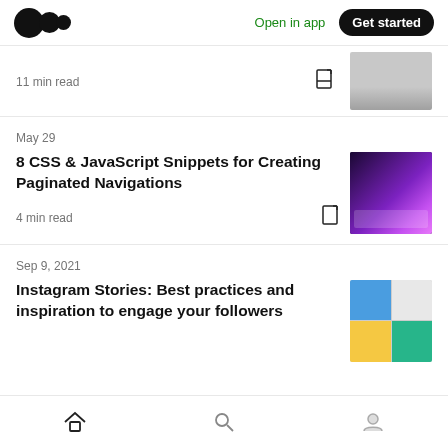Medium logo | Open in app | Get started
11 min read
May 29
8 CSS & JavaScript Snippets for Creating Paginated Navigations
4 min read
Sep 9, 2021
Instagram Stories: Best practices and inspiration to engage your followers